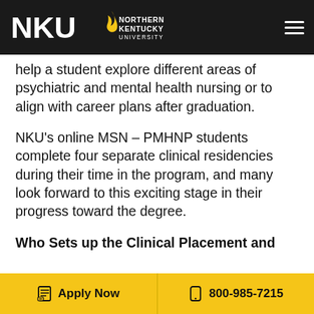NKU — Northern Kentucky University
help a student explore different areas of psychiatric and mental health nursing or to align with career plans after graduation.
NKU's online MSN – PMHNP students complete four separate clinical residencies during their time in the program, and many look forward to this exciting stage in their progress toward the degree.
Who Sets up the Clinical Placement and
Apply Now   800-985-7215